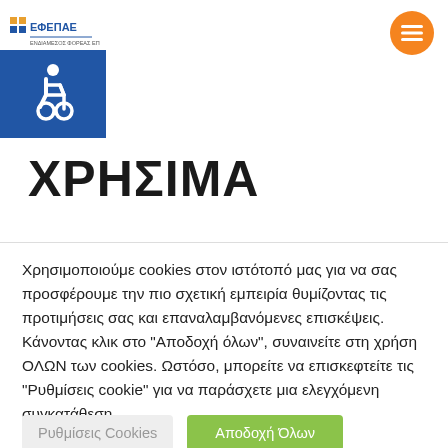ΕΦΕΠΑΕ logo and navigation menu
[Figure (logo): Accessibility wheelchair icon in blue box]
ΧΡΗΣΙΜΑ
Χρησιμοποιούμε cookies στον ιστότοπό μας για να σας προσφέρουμε την πιο σχετική εμπειρία θυμίζοντας τις προτιμήσεις σας και επαναλαμβανόμενες επισκέψεις. Κάνοντας κλικ στο "Αποδοχή όλων", συναινείτε στη χρήση ΟΛΩΝ των cookies. Ωστόσο, μπορείτε να επισκεφτείτε τις "Ρυθμίσεις cookie" για να παράσχετε μια ελεγχόμενη συγκατάθεση.
Ρυθμίσεις Cookies | Αποδοχή Όλων